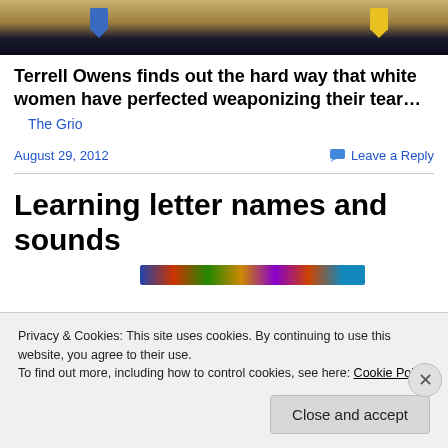[Figure (photo): Cropped photo of person wearing beige/gold jacket with blue and yellow badge/brooch details, dark background]
Terrell Owens finds out the hard way that white women have perfected weaponizing their tear…
The Grio
August 29, 2012
Leave a Reply
Learning letter names and sounds
[Figure (photo): Colorful strip image partially visible]
Privacy & Cookies: This site uses cookies. By continuing to use this website, you agree to their use.
To find out more, including how to control cookies, see here: Cookie Policy